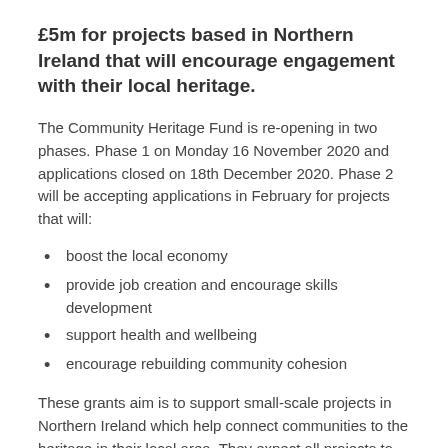£5m for projects based in Northern Ireland that will encourage engagement with their local heritage.
The Community Heritage Fund is re-opening in two phases. Phase 1 on Monday 16 November 2020 and applications closed on 18th December 2020. Phase 2 will be accepting applications in February for projects that will:
boost the local economy
provide job creation and encourage skills development
support health and wellbeing
encourage rebuilding community cohesion
These grants aim is to support small-scale projects in Northern Ireland which help connect communities to the heritage in their local area. They expect all projects to demonstrate that they are building long-term